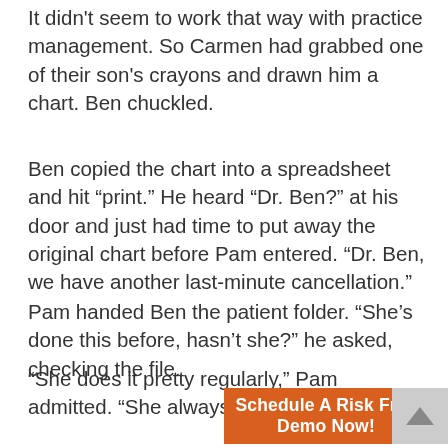It didn't seem to work that way with practice management. So Carmen had grabbed one of their son's crayons and drawn him a chart. Ben chuckled.
Ben copied the chart into a spreadsheet and hit “print.” He heard “Dr. Ben?” at his door and just had time to put away the original chart before Pam entered. “Dr. Ben, we have another last-minute cancellation.”
Pam handed Ben the patient folder. “She’s done this before, hasn’t she?” he asked, checking the file.
“She does it pretty regularly,” Pam admitted. “She always says something about work, but I wonder whether maybe she just finds herself short before the appointment comes up, and makes excuses so she won’t have to pay.”
[Figure (other): Orange call-to-action banner with text: Schedule A Risk Free Demo Now!]
“Do w... he place